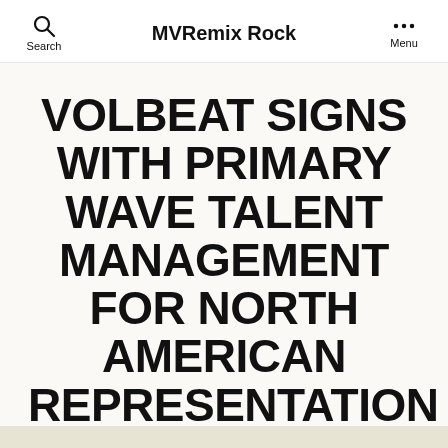MVRemix Rock
VOLBEAT SIGNS WITH PRIMARY WAVE TALENT MANAGEMENT FOR NORTH AMERICAN REPRESENTATION
By MVRemix Rock   January 27, 2010
No Comments